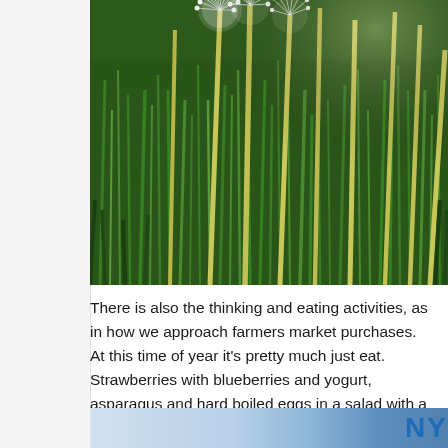[Figure (photo): Close-up photograph of dandelion seed heads (white fluffy puffs) with tall yellow-green stems rising above green grass in the background. The photo is taken from a low angle showing multiple dandelion stalks against a field of green grass.]
There is also the thinking and eating activities, as in how we approach farmers market purchases. At this time of year it's pretty much just eat. Strawberries with blueberries and yogurt, asparagus and hard boiled eggs in a salad with a mustardy vinaigrette.
[Figure (photo): Partial view of a second photograph at the bottom of the page, partially cut off. Shows a light blue background with what appears to be large blue letters 'NY' or similar text visible on the right side.]